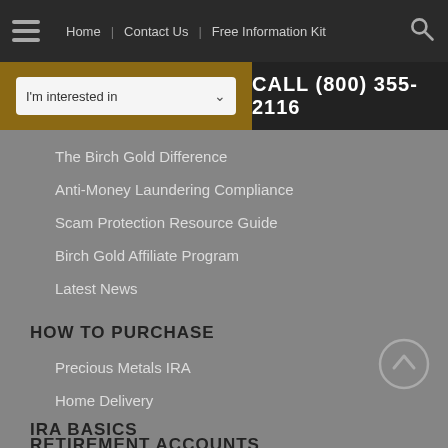Home | Contact Us | Free Information Kit
I'm interested in
CALL (800) 355-2116
The Birch Gold Difference
Anti-Money Laundering Compliance
Scam Protection Resource Guide
Birch Gold Affiliate Program
Latest News
HOW TO PURCHASE
Precious Metals IRA
Home Delivery
RETIREMENT ACCOUNTS
Why Precious Metals?
How To Own
Precious Metals IRA Storage Options
IRA BASICS